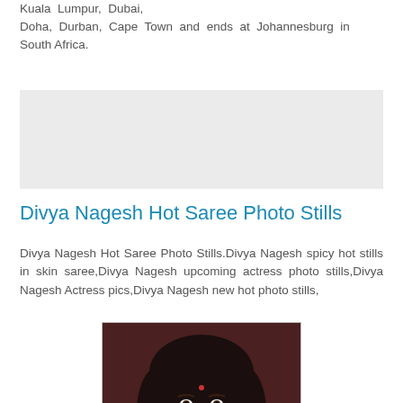Kuala Lumpur, Dubai, Doha, Durban, Cape Town and ends at Johannesburg in South Africa.
[Figure (other): Gray advertisement/banner placeholder block]
Divya Nagesh Hot Saree Photo Stills
Divya Nagesh Hot Saree Photo Stills.Divya Nagesh spicy hot stills in skin saree,Divya Nagesh upcoming actress photo stills,Divya Nagesh Actress pics,Divya Nagesh new hot photo stills,
[Figure (photo): Photo of Divya Nagesh, a young Indian actress with curly black hair, wearing a dark outfit with earrings, smiling at the camera]